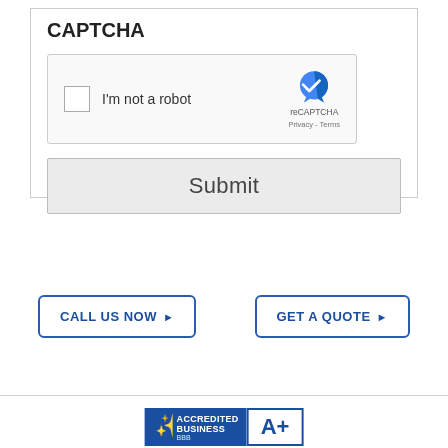CAPTCHA
[Figure (screenshot): reCAPTCHA widget with checkbox labeled 'I'm not a robot' and reCAPTCHA logo with Privacy and Terms links]
Submit
CALL US NOW ▶
GET A QUOTE ▶
[Figure (logo): BBB Accredited Business logo with A+ rating badge]